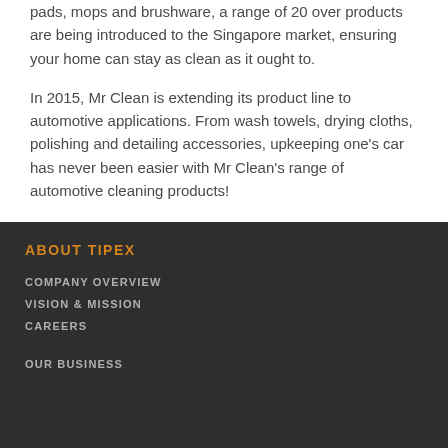pads, mops and brushware, a range of 20 over products are being introduced to the Singapore market, ensuring your home can stay as clean as it ought to.
In 2015, Mr Clean is extending its product line to automotive applications. From wash towels, drying cloths, polishing and detailing accessories, upkeeping one's car has never been easier with Mr Clean's range of automotive cleaning products!
ABOUT TIPEX
COMPANY OVERVIEW
VISION & MISSION
CAREERS
OUR BUSINESS